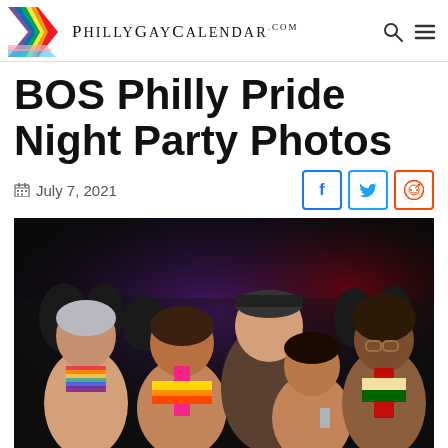PhillyGayCalendar.com
BOS Philly Pride Night Party Photos
July 7, 2021
[Figure (photo): Group photo of five men at a nightclub party, colorfully dressed in pride attire, smiling at the camera with a dark crowded venue in the background.]